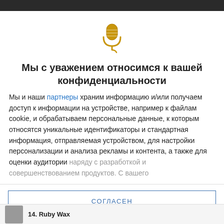Мы с уважением относимся к вашей конфиденциальности
Мы и наши партнеры храним информацию и/или получаем доступ к информации на устройстве, например к файлам cookie, и обрабатываем персональные данные, к которым относятся уникальные идентификаторы и стандартная информация, отправляемая устройством, для настройки персонализации и анализа рекламы и контента, а также для оценки аудитории наряду с разработкой и совершенствованием продуктов. С вашего
СОГЛАСЕН
ДОПОЛНИТЕЛЬНЫЕ ПАРАМЕТРЫ
14. Ruby Wax